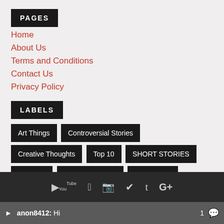PAGES
Home
About Us
Terms and Conditions
Contact Us
Privacy Policy
LABELS
Art Things
Controversial Stories
Creative Thoughts
Top 10
SHORT STORIES
Bachelor
Bachelor Review
Gv Prakash
Tamil Movie Bachelor
Tamil Movie Bachelor Review
anon8412: Hi  1